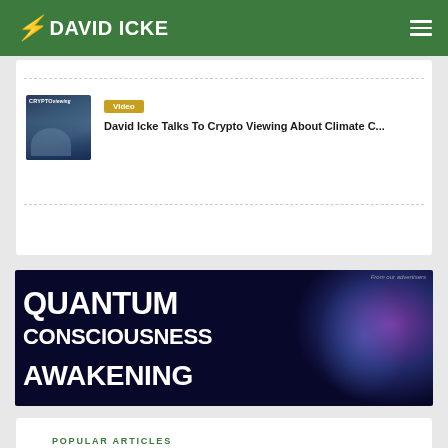DAVID ICKE
[Figure (screenshot): Thumbnail image for Crypto Viewing video with David Icke]
Video
David Icke Talks To Crypto Viewing About Climate C...
[Figure (infographic): Advertisement banner: QUANTUM CONSCIOUSNESS AWAKENING with cosmic/neural glow background. Text reads 'From our advertisers']
POPULAR ARTICLES